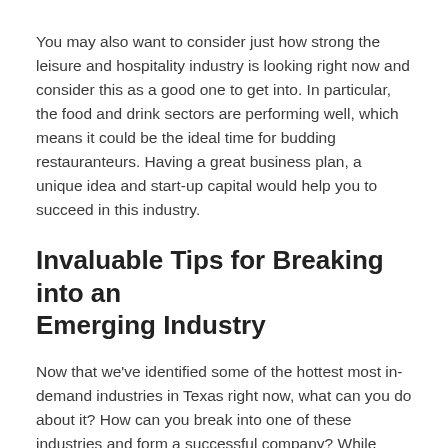You may also want to consider just how strong the leisure and hospitality industry is looking right now and consider this as a good one to get into. In particular, the food and drink sectors are performing well, which means it could be the ideal time for budding restauranteurs. Having a great business plan, a unique idea and start-up capital would help you to succeed in this industry.
Invaluable Tips for Breaking into an Emerging Industry
Now that we've identified some of the hottest most in-demand industries in Texas right now, what can you do about it? How can you break into one of these industries and form a successful company? While there is no magic solution, there are some tips that can help: